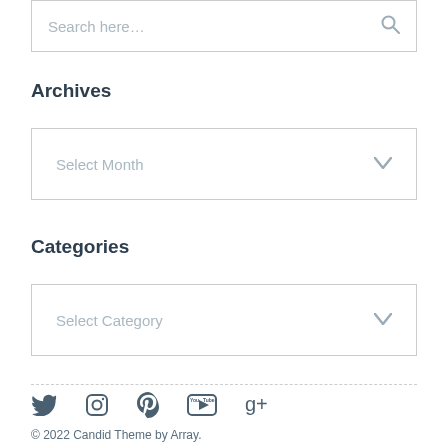Search here...
Archives
Select Month
Categories
Select Category
[Figure (other): Social media icons row: Twitter, Instagram, Pinterest, YouTube, Google+]
© 2022 Candid Theme by Array.